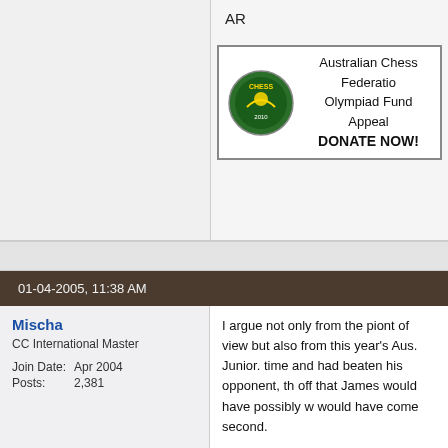AR
[Figure (logo): Australian Chess Federation Olympiad Fund Appeal banner with chess logo]
Australian Chess Federation Olympiad Fund Appeal DONATE NOW!
01-04-2005, 11:38 AM
Mischa
CC International Master
Join Date: Apr 2004
Posts: 2,381
I argue not only from the piont of view but also from this year's Aus. Junior. time and had beaten his opponent, th off that James would have possibly w would have come second.
proud parent